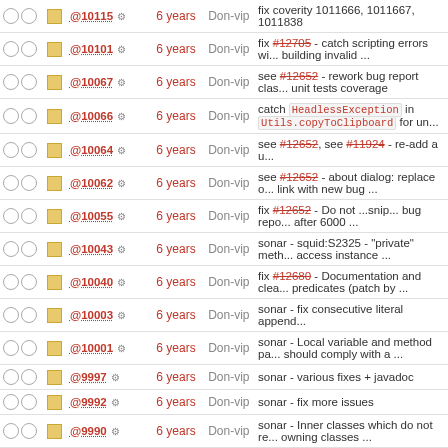|  |  | ID | Age | Author | Description |
| --- | --- | --- | --- | --- | --- |
| ○○ | □ | @10115 | 6 years | Don-vip | fix coverity 1011666, 1011667, 1011838 |
| ○○ | □ | @10101 | 6 years | Don-vip | fix #12705 - catch scripting errors while building invalid ... |
| ○○ | □ | @10067 | 6 years | Don-vip | see #12652 - rework bug report class, unit tests coverage |
| ○○ | □ | @10066 | 6 years | Don-vip | catch HeadlessException in Utils.copyToClipboard for un... |
| ○○ | □ | @10064 | 6 years | Don-vip | see #12652, see #11924 - re-add a u... |
| ○○ | □ | @10062 | 6 years | Don-vip | see #12652 - about dialog: replace o... link with new bug ... |
| ○○ | □ | @10055 | 6 years | Don-vip | fix #12652 - Do not ...snip... bug repo... after 6000 ... |
| ○○ | □ | @10043 | 6 years | Don-vip | sonar - squid:S2325 - "private" meth... access instance ... |
| ○○ | □ | @10040 | 6 years | Don-vip | fix #12680 - Documentation and clea... predicates (patch by ... |
| ○○ | □ | @10003 | 6 years | Don-vip | sonar - fix consecutive literal append... |
| ○○ | □ | @10001 | 6 years | Don-vip | sonar - Local variable and method pa... should comply with a ... |
| ○○ | □ | @9997 | 6 years | Don-vip | sonar - various fixes + javadoc |
| ○○ | □ | @9992 | 6 years | Don-vip | sonar - fix more issues |
| ○○ | □ | @9990 | 6 years | Don-vip | sonar - Inner classes which do not re... owning classes ... |
| ○○ | □ | @9987 | 6 years | Don-vip | sonar - use double instead of float |
| ○○ | □ | @9983 | 6 years | Don-vip | remove unused code |